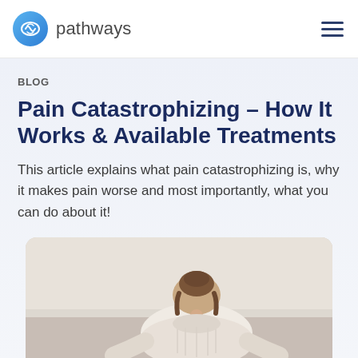pathways
BLOG
Pain Catastrophizing – How It Works & Available Treatments
This article explains what pain catastrophizing is, why it makes pain worse and most importantly, what you can do about it!
[Figure (photo): A person with brown hair pulled back, hunched forward, photographed from behind, wearing a light-colored top, suggesting pain or distress.]